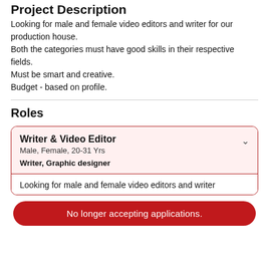Project Description
Looking for male and female video editors and writer for our production house.
Both the categories must have good skills in their respective fields.
Must be smart and creative.
Budget - based on profile.
Roles
Writer & Video Editor
Male, Female, 20-31 Yrs
Writer, Graphic designer
Looking for male and female video editors and writer
No longer accepting applications.